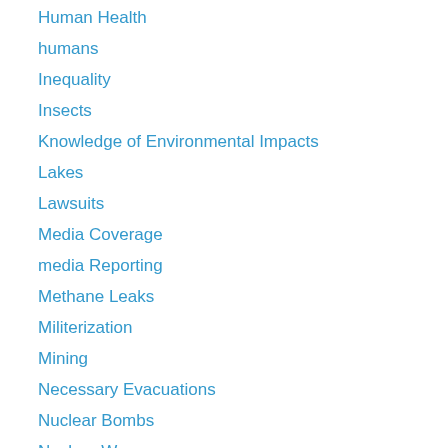Human Health
humans
Inequality
Insects
Knowledge of Environmental Impacts
Lakes
Lawsuits
Media Coverage
media Reporting
Methane Leaks
Militerization
Mining
Necessary Evacuations
Nuclear Bombs
Nuclear War
Ocean Species Exploitation
Ocean Species Exploitation
Oceans
Oii Burned in Transportation
Oil